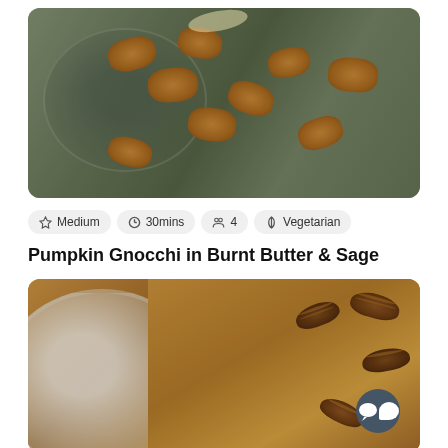[Figure (photo): Close-up photo of pumpkin gnocchi in burnt butter and sage on a dark plate, golden brown pieces with cheese shavings]
Medium
30mins
4
Vegetarian
Pumpkin Gnocchi in Burnt Butter & Sage
[Figure (photo): Close-up photo of a pumpkin pie or tart with pecans on top, served on a white ridged ceramic plate]